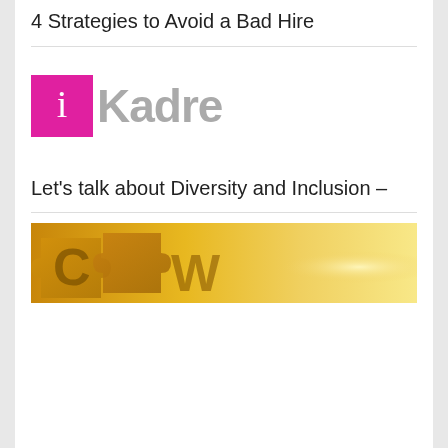4 Strategies to Avoid a Bad Hire
[Figure (logo): iKadre logo: magenta square with white italic 'i' character followed by 'Kadre' in gray bold text]
Let's talk about Diversity and Inclusion –
[Figure (photo): Partial photo showing puzzle pieces in gold/yellow tones with text fragments visible, including letters 'C' and 'W']